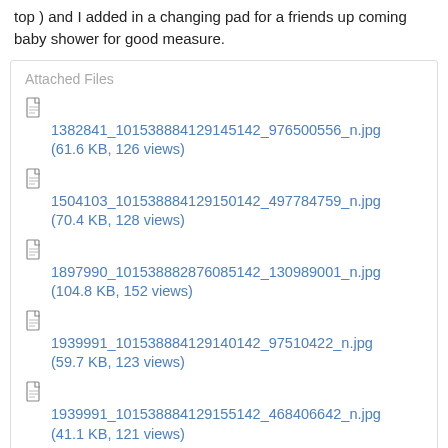top ) and I added in a changing pad for a friends up coming baby shower for good measure.
Attached Files
1382841_101538884129145142_976500556_n.jpg (61.6 KB, 126 views)
1504103_101538884129150142_497784759_n.jpg (70.4 KB, 128 views)
1897990_101538882876085142_130989001_n.jpg (104.8 KB, 152 views)
1939991_101538884129140142_97510422_n.jpg (59.7 KB, 123 views)
1939991_101538884129155142_468406642_n.jpg (41.1 KB, 121 views)
1964851_101538883921355142_1313157545_n.jpg (53.5 KB, 112 views)
1939991_101538884129135142_975978005_n.jpg